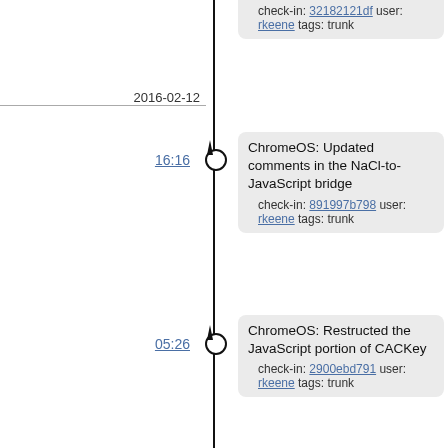check-in: 32182121df user: rkeene tags: trunk
2016-02-12
16:16 — ChromeOS: Updated comments in the NaCl-to-JavaScript bridge. check-in: 891997b798 user: rkeene tags: trunk
05:26 — ChromeOS: Restructed the JavaScript portion of CACKey. check-in: 2900ebd791 user: rkeene tags: trunk
05:10 — ChromeOS: Started working on providing working callbacks for calls into NaCl. check-in: b356505dc2 user: rkeene tags: trunk
05:10 — ChromeOS: Updated to include the command we are replying to in the reply. check-in: e3aaea539b user: rkeene tags: trunk
04:10 — ChromeOS: Removed extra debugging initialization, should now be centralized. check-in: 30884d86b4 user: rkeene tags: trunk